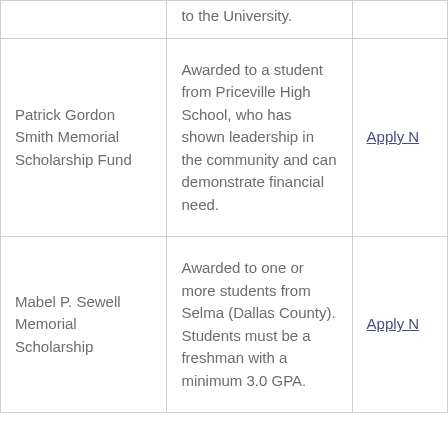| Scholarship Name | Description | Action |
| --- | --- | --- |
|  | to the University. |  |
| Patrick Gordon Smith Memorial Scholarship Fund | Awarded to a student from Priceville High School, who has shown leadership in the community and can demonstrate financial need. | Apply N… |
| Mabel P. Sewell Memorial Scholarship | Awarded to one or more students from Selma (Dallas County). Students must be a freshman with a minimum 3.0 GPA. | Apply N… |